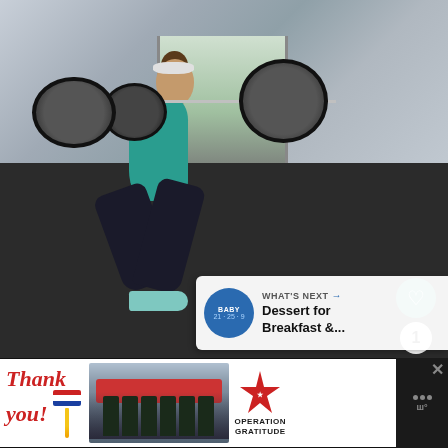[Figure (photo): A woman performing a back squat with a heavy barbell loaded with large black weight plates in a CrossFit-style gym. She is wearing a teal tank top and a white headband, in a deep squat position. The gym background shows rubber flooring, squat racks, and an open garage door. UI overlay elements include a teal heart/like button, a count of '1', and a share button on the right side.]
[Figure (infographic): A 'WHAT'S NEXT' panel in the lower right showing a circular thumbnail with text 'BABY 21·25·9' and text 'Dessert for Breakfast &...' beside it with a rightward arrow.]
[Figure (photo): Advertisement banner at the bottom: 'Thank you!' text with an American flag and pencil, firefighters photo, and 'OPERATION GRATITUDE' logo with a star and arrow icon.]